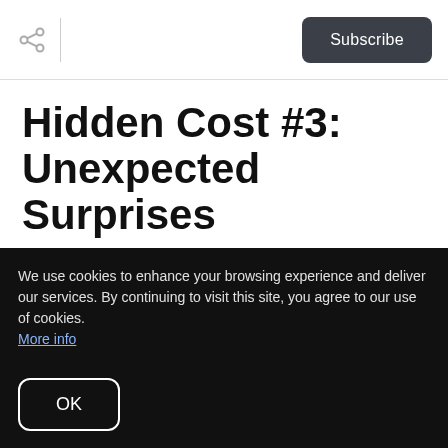Subscribe
Hidden Cost #3: Unexpected Surprises
The main issue a seller will run into is a lack of one-on-one representation. For example, when you list with a service like Purple Bricks that
We use cookies to enhance your browsing experience and deliver our services. By continuing to visit this site, you agree to our use of cookies. More info
OK